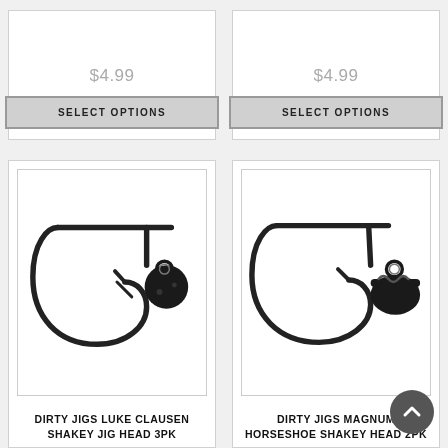$4.99
SELECT OPTIONS
$4.99
SELECT OPTIONS
[Figure (photo): Black fishing jig head with round ball head and hook - Dirty Jigs Luke Clausen Shakey Jig Head 3PK]
DIRTY JIGS LUKE CLAUSEN SHAKEY JIG HEAD 3PK
[Figure (photo): Black fishing jig head with horseshoe/mushroom head and hook - Dirty Jigs Magnum Horseshoe Shakey Head 2PK]
DIRTY JIGS MAGNUM HORSESHOE SHAKEY HEAD 2PK